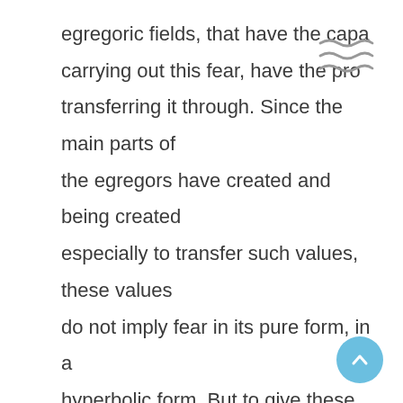egregoric fields, that have the capa carrying out this fear, have the pro transferring it through. Since the main parts of the egregors have created and being created especially to transfer such values, these values do not imply fear in its pure form, in a hyperbolic form. But to give these examples just for the understanding that the energy of fear accumulated creates completely destructive formations. In the same way, it creates it in the body after a traumatic experience, illness, constant emotional stress,
[Figure (other): Three wavy tilde (~) lines stacked, decorative symbol in upper right area]
[Figure (other): Light blue circular scroll-to-top button with upward arrow chevron, bottom right corner]